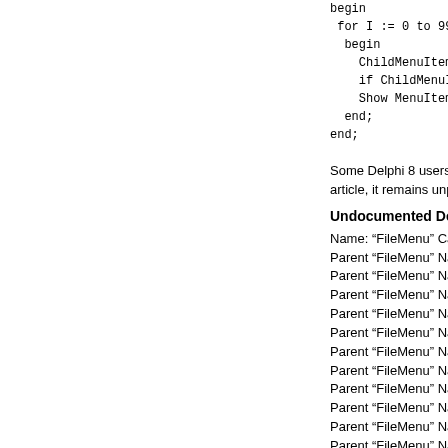[Figure (other): Code snippet showing Pascal/Delphi code: begin for I := 0 to 99 do begin ChildMenuItem := M... if ChildMenuItem =... Show MenuItem in T... end; end;]
Some Delphi 8 users wished... article, it remains unpublished...
Undocumented Delphi 8 me...
Name: “FileMenu” Caption: “&...
Parent “FileMenu” Name: “Ne...
Parent “FileMenu” Name: “Fil...
Parent “FileMenu” Name: “Fil...
Parent “FileMenu” Name: “Fil...
Parent “FileMenu” Name: “Fil...
Parent “FileMenu” Name: “Fil...
Parent “FileMenu” Name: “Fil...
Parent “FileMenu” Name: “Fil...
Parent “FileMenu” Name: “Fil...
Parent “FileMenu” Name: “Fil...
Parent “FileMenu” Name: “Fil...
Parent “FileMenu” Name: “Fil...
Parent “FileMenu” Name: “Fil...
Parent “FileMenu” Name: “” C...
Parent “FileMenu” Name: “Fil...
Parent “FileMenu” Name: “” C...
Parent “FileMenu” Name: “Fil...